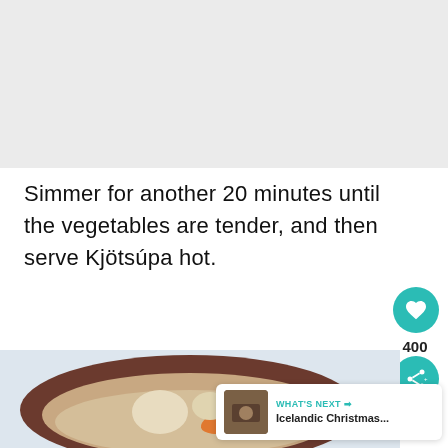[Figure (photo): Light gray placeholder area at top of page (partial image visible)]
Simmer for another 20 minutes until the vegetables are tender, and then serve Kjötsúpa hot.
[Figure (photo): Food photograph showing a dark ceramic bowl with vegetables including carrots and potatoes in a light broth, on a light background. Overlay shows heart/like button (teal, 400 count), share button (teal), and a 'WHAT'S NEXT' card for 'Icelandic Christmas...']